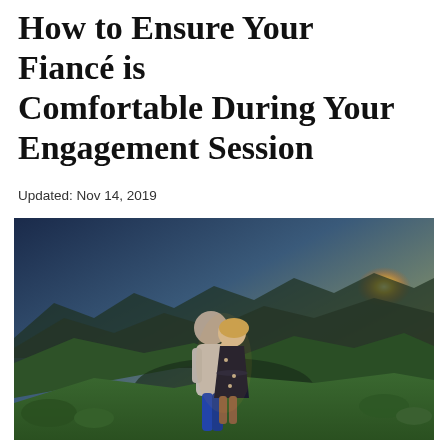How to Ensure Your Fiancé is Comfortable During Your Engagement Session
Updated: Nov 14, 2019
[Figure (photo): A couple embracing on a hillside meadow at golden-hour sunset, with mountain ridges and forest valley in the background, warm orange sunlight glowing on the horizon.]